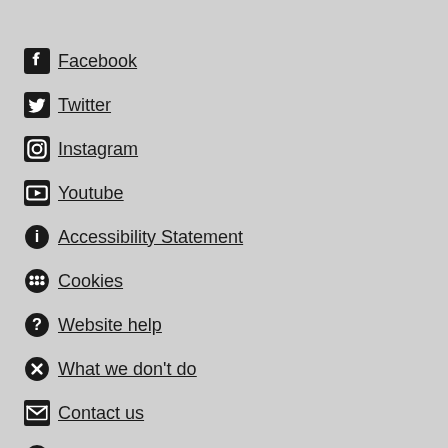Facebook
Twitter
Instagram
Youtube
Accessibility Statement
Cookies
Website help
What we don't do
Contact us
Careers